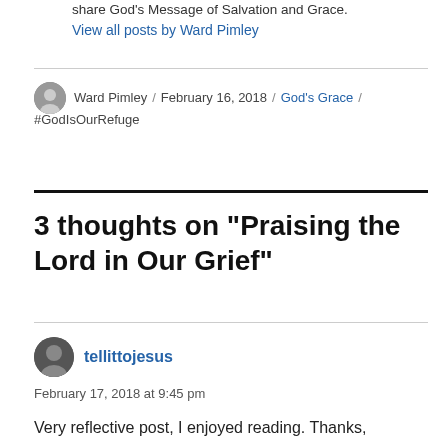share God's Message of Salvation and Grace. View all posts by Ward Pimley
Ward Pimley / February 16, 2018 / God's Grace / #GodIsOurRefuge
3 thoughts on “Praising the Lord in Our Grief”
tellittojesus
February 17, 2018 at 9:45 pm
Very reflective post, I enjoyed reading. Thanks,